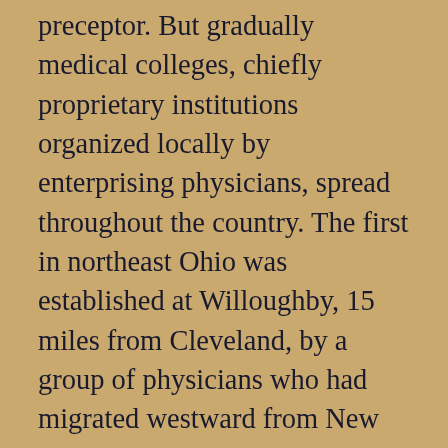preceptor. But gradually medical colleges, chiefly proprietary institutions organized locally by enterprising physicians, spread throughout the country. The first in northeast Ohio was established at Willoughby, 15 miles from Cleveland, by a group of physicians who had migrated westward from New York State. Founded in 1834 as the Medical Department of Willoughby Univ. of Lake Erie, the school at first attracted outstanding teachers such as JOHN DELAMATER† (1787–1867) and JARED P. KIRTLAND† (1793–1877), but internal dissension led shortly to their resignation. They created a new school in Cleveland named the Cleveland Medical College. Originally chartered in 1843 as a department of the Western Reserve College of Hudson, this school